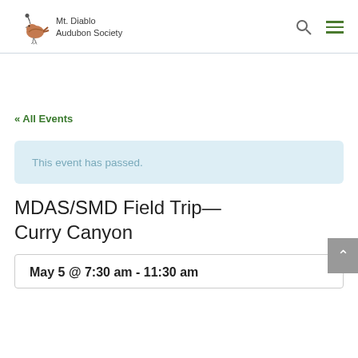Mt. Diablo Audubon Society
« All Events
This event has passed.
MDAS/SMD Field Trip—Curry Canyon
May 5 @ 7:30 am - 11:30 am